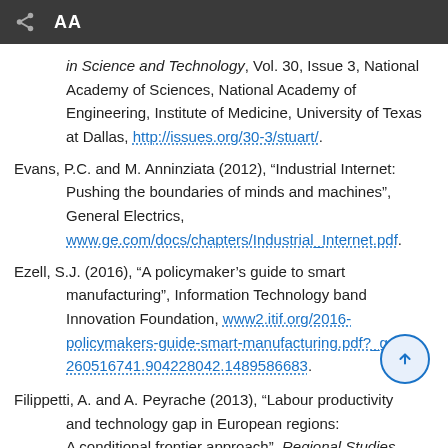AA
in Science and Technology, Vol. 30, Issue 3, National Academy of Sciences, National Academy of Engineering, Institute of Medicine, University of Texas at Dallas, http://issues.org/30-3/stuart/.
Evans, P.C. and M. Anninziata (2012), “Industrial Internet: Pushing the boundaries of minds and machines”, General Electrics, www.ge.com/docs/chapters/Industrial_Internet.pdf.
Ezell, S.J. (2016), “A policymaker’s guide to smart manufacturing”, Information Technology band Innovation Foundation, www2.itif.org/2016-policymakers-guide-smart-manufacturing.pdf?_ga=1.260516741.904228042.1489586683.
Filippetti, A. and A. Peyrache (2013), “Labour productivity and technology gap in European regions: A conditional frontier approach”, Regional Studies,